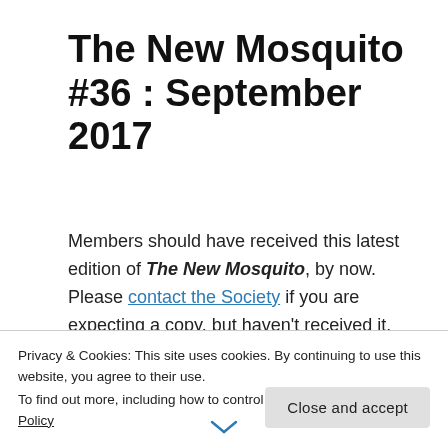The New Mosquito #36 : September 2017
Members should have received this latest edition of The New Mosquito, by now. Please contact the Society if you are expecting a copy, but haven't received it.
The New Mosquito issue
Privacy & Cookies: This site uses cookies. By continuing to use this website, you agree to their use. To find out more, including how to control cookies, see here: Cookie Policy
Close and accept